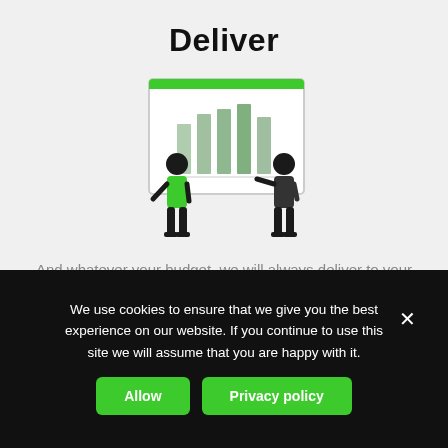Deliver
[Figure (illustration): Illustration of two cartoon figures presenting a bar chart on a whiteboard/screen. One figure wearing green stands on the left, another dark-suited figure stands on the right pointing at the chart.]
And whatever your budget, we will always deliver to your expectations, and analyse your results
We use cookies to ensure that we give you the best experience on our website. If you continue to use this site we will assume that you are happy with it.